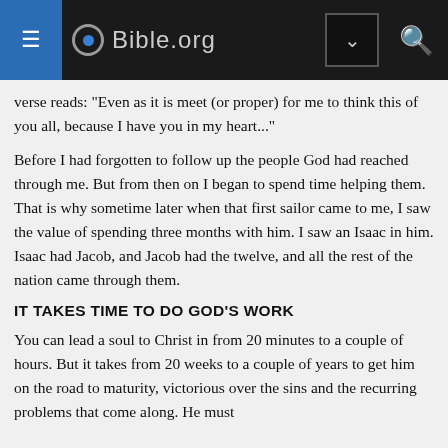Bible.org
verse reads: "Even as it is meet (or proper) for me to think this of you all, because I have you in my heart..."
Before I had forgotten to follow up the people God had reached through me. But from then on I began to spend time helping them. That is why sometime later when that first sailor came to me, I saw the value of spending three months with him. I saw an Isaac in him. Isaac had Jacob, and Jacob had the twelve, and all the rest of the nation came through them.
IT TAKES TIME TO DO GOD'S WORK
You can lead a soul to Christ in from 20 minutes to a couple of hours. But it takes from 20 weeks to a couple of years to get him on the road to maturity, victorious over the sins and the recurring problems that come along. He must